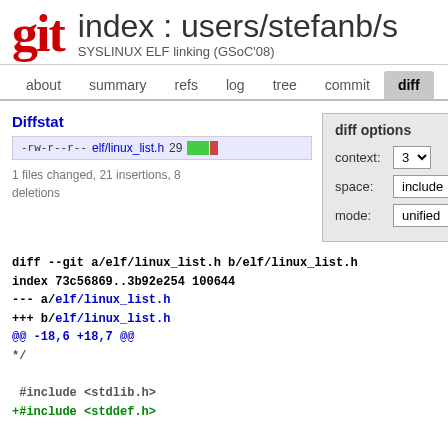git  index : users/stefanb/s  SYSLINUX ELF linking (GSoC'08)
about  summary  refs  log  tree  commit  diff  stat
Diffstat
-rw-r--r-- elf/linux_list.h 29
1 files changed, 21 insertions, 8 deletions
diff options
context: 3
space: include
mode: unified
diff --git a/elf/linux_list.h b/elf/linux_list.h
index 73c56869..3b92e254 100644
--- a/elf/linux_list.h
+++ b/elf/linux_list.h
@@ -18,6 +18,7 @@
    */
 
 #include <stdlib.h>
+#include <stddef.h>